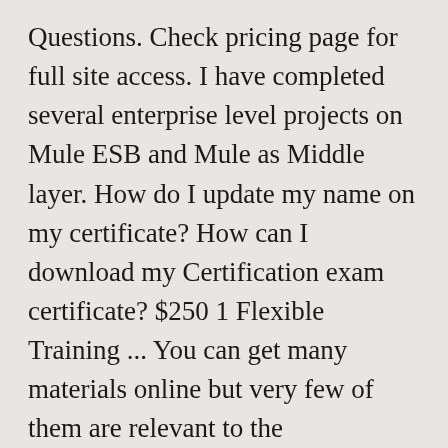Questions. Check pricing page for full site access. I have completed several enterprise level projects on Mule ESB and Mule as Middle layer. How do I update my name on my certificate? How can I download my Certification exam certificate? $250 1 Flexible Training ... You can get many materials online but very few of them are relevant to the certification. For more discount on Mulesoft Tutorials Contact advisor +91 988 502 2027 (whatsapp available). MuleSoft Updated Dumps Questions Pool Provider Limited Time Discount Offer 40% Off - Ends in 0d 00h 00m 00s - Coupon code... Click to enjoy the latest deals and coupons of MuleSoft and save up to 50% ...